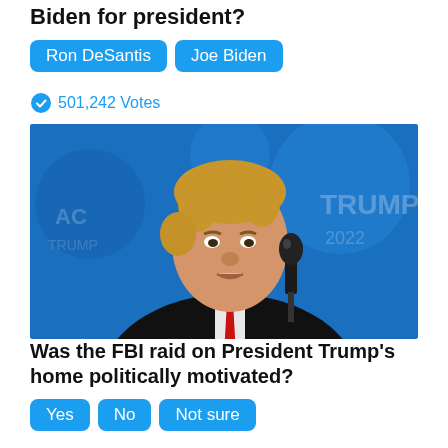Biden for president?
Ron DeSantis
Joe Biden
501,242 Votes
[Figure (photo): Donald Trump speaking at a podium with a microphone, wearing a dark suit and red tie, in front of a blue background.]
Was the FBI raid on President Trump's home politically motivated?
Yes
No
Not sure
16,706 Votes
Sponsored Ad